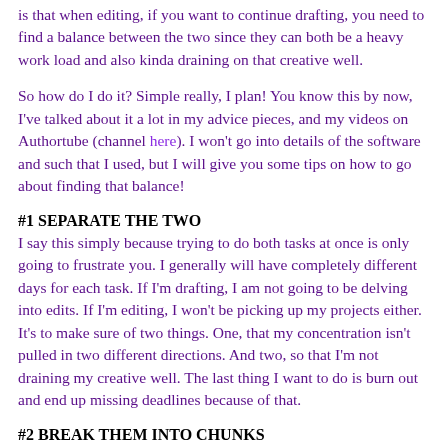is that when editing, if you want to continue drafting, you need to find a balance between the two since they can both be a heavy work load and also kinda draining on that creative well.
So how do I do it? Simple really, I plan! You know this by now, I've talked about it a lot in my advice pieces, and my videos on Authortube (channel here). I won't go into details of the software and such that I used, but I will give you some tips on how to go about finding that balance!
#1 SEPARATE THE TWO
I say this simply because trying to do both tasks at once is only going to frustrate you. I generally will have completely different days for each task. If I'm drafting, I am not going to be delving into edits. If I'm editing, I won't be picking up my projects either. It's to make sure of two things. One, that my concentration isn't pulled in two different directions. And two, so that I'm not draining my creative well. The last thing I want to do is burn out and end up missing deadlines because of that.
#2 BREAK THEM INTO CHUNKS